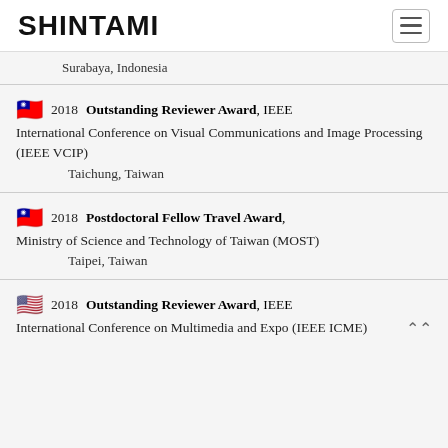SHINTAMI
Surabaya, Indonesia
2018 Outstanding Reviewer Award, IEEE International Conference on Visual Communications and Image Processing (IEEE VCIP) Taichung, Taiwan
2018 Postdoctoral Fellow Travel Award, Ministry of Science and Technology of Taiwan (MOST) Taipei, Taiwan
2018 Outstanding Reviewer Award, IEEE International Conference on Multimedia and Expo (IEEE ICME)